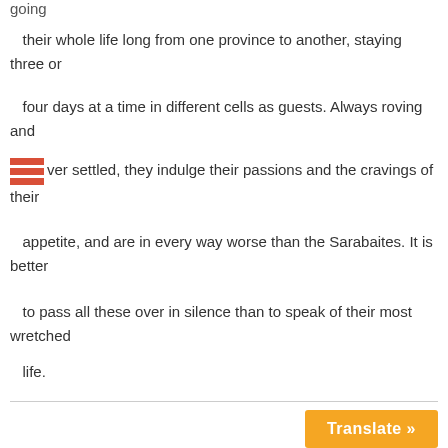going
their whole life long from one province to another, staying three or
four days at a time in different cells as guests. Always roving and
never settled, they indulge their passions and the cravings of their
appetite, and are in every way worse than the Sarabaites. It is better
to pass all these over in silence than to speak of their most wretched
life.
Therefore, passing these over, let us go on with the help of God to lay
down a rule for that most valiant kind of monks, the Cenobites.
Translate »